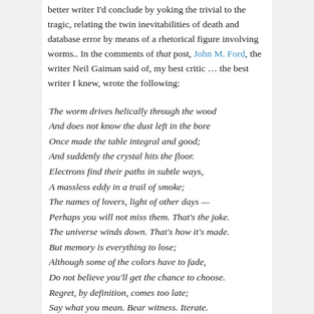better writer I'd conclude by yoking the trivial to the tragic, relating the twin inevitabilities of death and database error by means of a rhetorical figure involving worms.. In the comments of that post, John M. Ford, the writer Neil Gaiman said of, my best critic … the best writer I knew, wrote the following:
The worm drives helically through the wood
And does not know the dust left in the bore
Once made the table integral and good;
And suddenly the crystal hits the floor.
Electrons find their paths in subtle ways,
A massless eddy in a trail of smoke;
The names of lovers, light of other days —
Perhaps you will not miss them. That's the joke.
The universe winds down. That's how it's made.
But memory is everything to lose;
Although some of the colors have to fade,
Do not believe you'll get the chance to choose.
Regret, by definition, comes too late;
Say what you mean. Bear witness. Iterate.